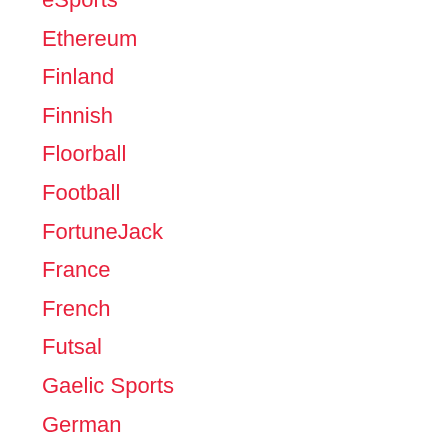eSports
Ethereum
Finland
Finnish
Floorball
Football
FortuneJack
France
French
Futsal
Gaelic Sports
German
go
Golf